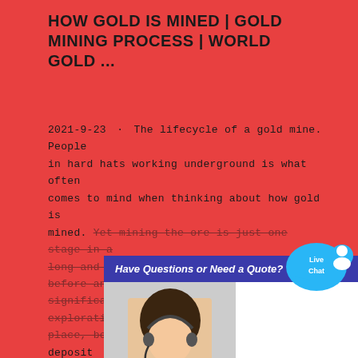HOW GOLD IS MINED | GOLD MINING PROCESS | WORLD GOLD ...
2021-9-23 · The lifecycle of a gold mine. People in hard hats working underground is what often comes to mind when thinking about how gold is mined. Yet mining the ore is just one stage in a long and complex gold mining process. Long before any gold can be extracted, significant exploration and development needs to take place, both to determine the size of the deposit …
[Figure (screenshot): A popup chat widget overlaying the page with header 'Have Questions or Need a Quote?', a photo of a female customer service agent wearing headset, and a 'CHAT NOW' button. A Live Chat speech bubble is positioned top-right.]
contact us
[Figure (photo): Industrial mining equipment photo showing large machinery with pipes and tanks, mountains visible in the background.]